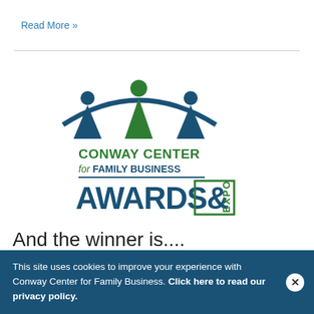Read More »
[Figure (logo): Conway Center for Family Business Awards & Expo logo with stylized figures and arch above text]
And the winner is....
This site uses cookies to improve your experience with Conway Center for Family Business. Click here to read our privacy policy.